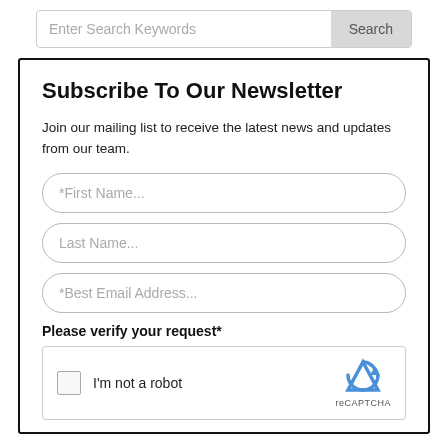Enter Search Keywords
Subscribe To Our Newsletter
Join our mailing list to receive the latest news and updates from our team.
*First Name...
Last Name...
*Best Email Address...
Please verify your request*
I'm not a robot
reCAPTCHA